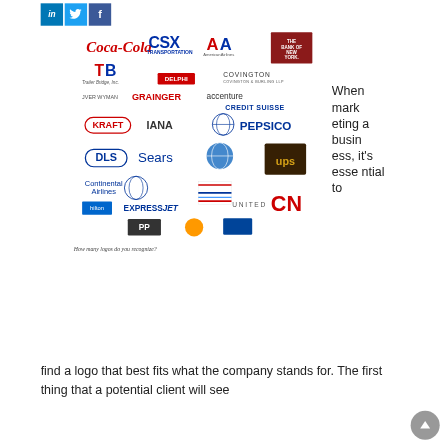[Figure (logo): Social media share buttons: LinkedIn (blue), Twitter (light blue), Facebook (dark blue)]
[Figure (illustration): Collage of well-known company logos including Coca-Cola, CSX Transportation, American Airlines, The Bank of New York, Trailer Bridge Inc., Delphi, Covington, Grainger, Accenture, Credit Suisse, Kraft, IANA, PepsiCo, DLS, Sears, UPS, Continental Airlines, Hilton, ExpressJet, United, CN]
How many logos do you recognize?
When marketing a business, it's essential to find a logo that best fits what the company stands for. The first thing that a potential client will see